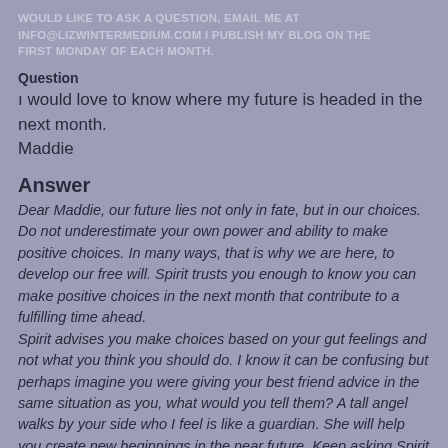WOULD LIKE TO ASK A QUESTION, EMAIL ME AT INFO@LIZWINTERMEDIUM.COM I PUBLISH MY BLOG ON THE FIRST MONDAY OF EACH MONTH.
Question
I would love to know where my future is headed in the next month.
Maddie
Answer
Dear Maddie, our future lies not only in fate, but in our choices. Do not underestimate your own power and ability to make positive choices. In many ways, that is why we are here, to develop our free will. Spirit trusts you enough to know you can make positive choices in the next month that contribute to a fulfilling time ahead. Spirit advises you make choices based on your gut feelings and not what you think you should do. I know it can be confusing but perhaps imagine you were giving your best friend advice in the same situation as you, what would you tell them? A tall angel walks by your side who I feel is like a guardian. She will help you create new beginnings in the near future. Keep asking Spirit for help and they will answer